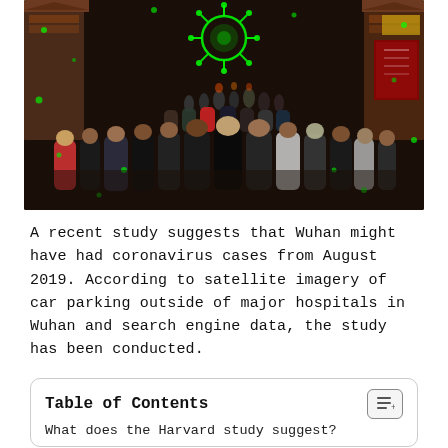[Figure (photo): Crowded street scene in a Chinese city (Wuhan) with people walking through a market street lined with traditional-style buildings and signs. A glowing green coronavirus particle illustration is digitally overlaid at the top center, and green speckles are scattered throughout the image.]
A recent study suggests that Wuhan might have had coronavirus cases from August 2019. According to satellite imagery of car parking outside of major hospitals in Wuhan and search engine data, the study has been conducted.
Table of Contents
What does the Harvard study suggest?